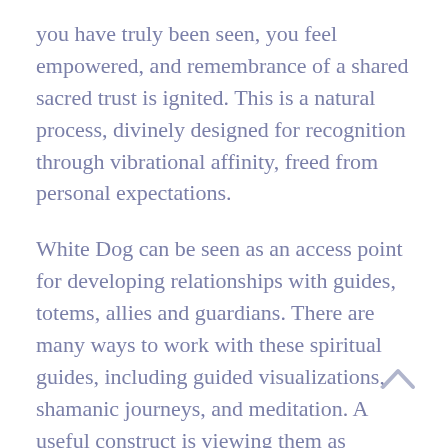you have truly been seen, you feel empowered, and remembrance of a shared sacred trust is ignited. This is a natural process, divinely designed for recognition through vibrational affinity, freed from personal expectations.
White Dog can be seen as an access point for developing relationships with guides, totems, allies and guardians. There are many ways to work with these spiritual guides, including guided visualizations, shamanic journeys, and meditation. A useful construct is viewing them as aspects of yourself, part of your life stream that is asking to be integrated. Remember, there is no 'other'. In this grand adventure, you are being asked to embody all that you are.
The Harmonic Wisdom of White Dog is affinity, the attraction of like vibrations or substances for one...